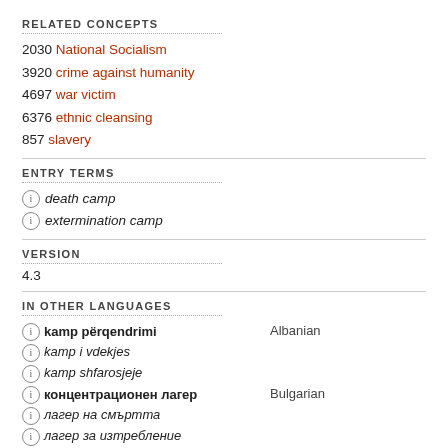RELATED CONCEPTS
2030 National Socialism
3920 crime against humanity
4697 war victim
6376 ethnic cleansing
857 slavery
ENTRY TERMS
death camp
extermination camp
VERSION
4.3
IN OTHER LANGUAGES
kamp përqendrimi — Albanian
kamp i vdekjes
kamp shfarosjeje
концентрационен лагер — Bulgarian
лагер на смъртта
лагер за изтребление
koncentracijski logor — Croatian